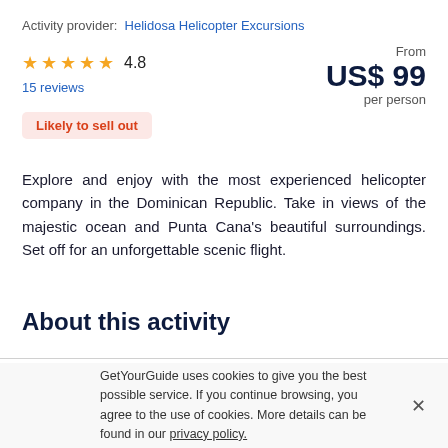Activity provider: Helidosa Helicopter Excursions
★★★★★ 4.8
15 reviews
From US$ 99 per person
Likely to sell out
Explore and enjoy with the most experienced helicopter company in the Dominican Republic. Take in views of the majestic ocean and Punta Cana's beautiful surroundings. Set off for an unforgettable scenic flight.
About this activity
GetYourGuide uses cookies to give you the best possible service. If you continue browsing, you agree to the use of cookies. More details can be found in our privacy policy.